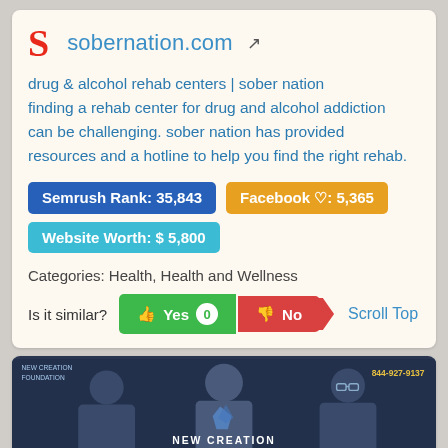S  sobernation.com
drug & alcohol rehab centers | sober nation finding a rehab center for drug and alcohol addiction can be challenging. sober nation has provided resources and a hotline to help you find the right rehab.
Semrush Rank: 35,843
Facebook ♡: 5,365
Website Worth: $ 5,800
Categories: Health, Health and Wellness
Is it similar?  Yes  0  No
Scroll Top
[Figure (screenshot): Video thumbnail showing people in a meeting room with 'NEW CREATION FOUNDATION' text overlay and hotline 844-927-9137]